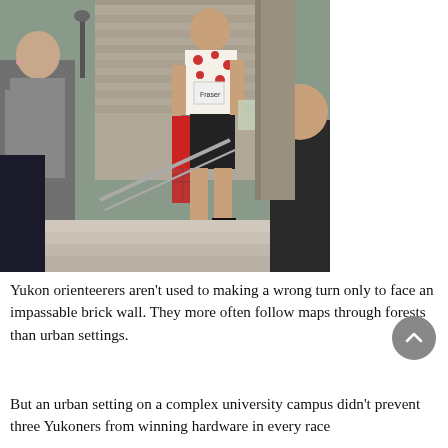[Figure (photo): A runner in a floral cycling jersey and black shorts descends outdoor stone steps on what appears to be a university campus. Other people are visible in the background and foreground.]
Yukon orienteerers aren't used to making a wrong turn only to face an impassable brick wall. They more often follow maps through forests than urban settings.
But an urban setting on a complex university campus didn't prevent three Yukoners from winning hardware in every race